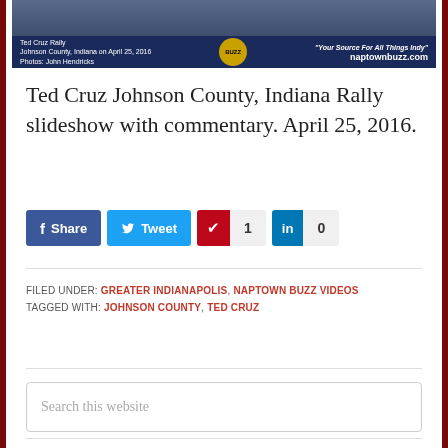[Figure (photo): Banner image for Ted Cruz Rally, Johnson County, Indiana on April 25, 2016. Shows dark blue bar with text: 'Ted Cruz Rally, Johnson County, Indiana on April 25, 2016. Photos: John Hendricks' on left, naptownbuzz.com logo in center, and 'Your Source For All Things Indy' text on right.]
Ted Cruz Johnson County, Indiana Rally slideshow with commentary. April 25, 2016.
Share | Tweet | Pinterest 1 | LinkedIn 0
FILED UNDER: GREATER INDIANAPOLIS, NAPTOWN BUZZ VIDEOS
TAGGED WITH: JOHNSON COUNTY, TED CRUZ
Search this website